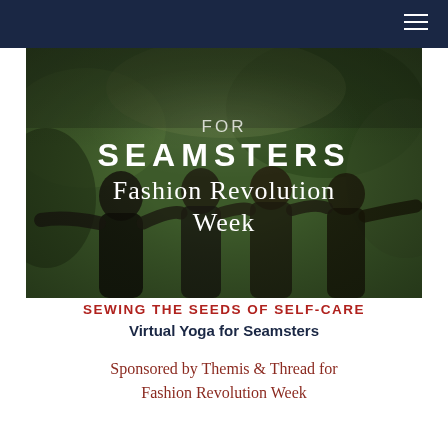[Figure (photo): Group of people with arms around each other outdoors, with text overlay reading 'SEAMSTERS Fashion Revolution Week' on a dark greenish background]
SEWING THE SEEDS OF SELF-CARE
Virtual Yoga for Seamsters
Sponsored by Themis & Thread for Fashion Revolution Week